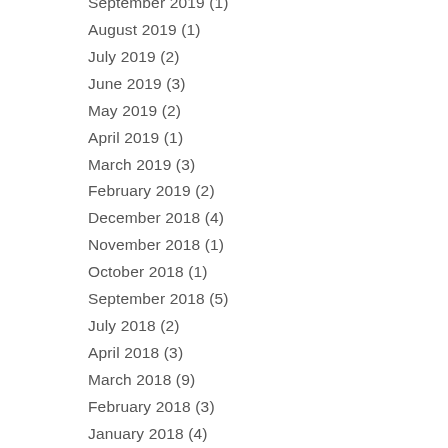September 2019 (1)
August 2019 (1)
July 2019 (2)
June 2019 (3)
May 2019 (2)
April 2019 (1)
March 2019 (3)
February 2019 (2)
December 2018 (4)
November 2018 (1)
October 2018 (1)
September 2018 (5)
July 2018 (2)
April 2018 (3)
March 2018 (9)
February 2018 (3)
January 2018 (4)
November 2017 (1)
October 2017 (4)
September 2017 (2)
August 2017 (1)